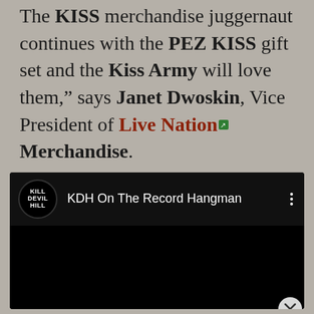The KISS merchandise juggernaut continues with the PEZ KISS gift set and the Kiss Army will love them," says Janet Dwoskin, Vice President of Live Nation Merchandise.
[Figure (screenshot): Embedded YouTube-style video player with black background. Header shows Kill Devil Hill circular logo and title 'KDH On The Record Hangman' with three-dot menu icon.]
Advertisements
[Figure (infographic): Dark navy advertisement banner reading 'Opinions. We all have them!' with WordPress logo and another circular logo on the right.]